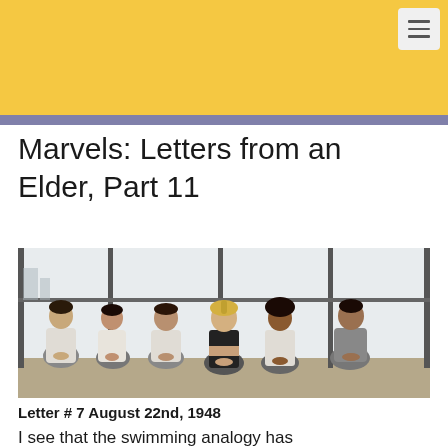Marvels: Letters from an Elder, Part 11
[Figure (photo): Six people sitting in a meditation pose on yoga mats in a bright studio with large windows. They are in a row, men and women of various ethnicities, wearing athletic clothing, hands resting in their laps.]
Letter # 7 August 22nd, 1948
I see that the swimming analogy has